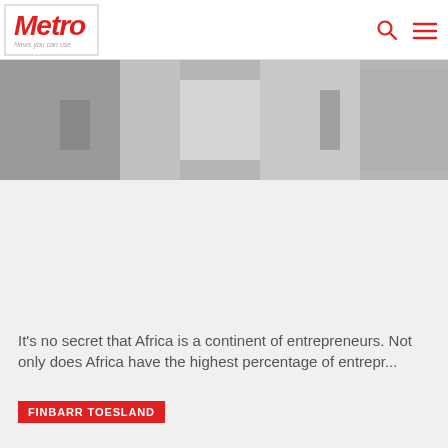Metro — News you can use
[Figure (photo): Hero image of office/workspace scene, partially visible at top of page]
It's no secret that Africa is a continent of entrepreneurs. Not only does Africa have the highest percentage of entrepr...
FINBARR TOESLAND